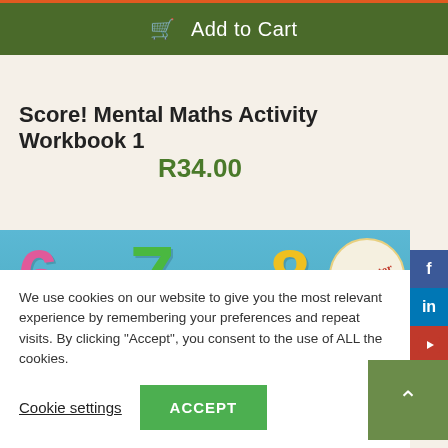Add to Cart
Score! Mental Maths Activity Workbook 1
R34.00
[Figure (photo): Colorful plastic number magnets (6, 7, 8) on a blue background with a Trumpeter logo badge on the right]
We use cookies on our website to give you the most relevant experience by remembering your preferences and repeat visits. By clicking “Accept”, you consent to the use of ALL the cookies.
Cookie settings
ACCEPT